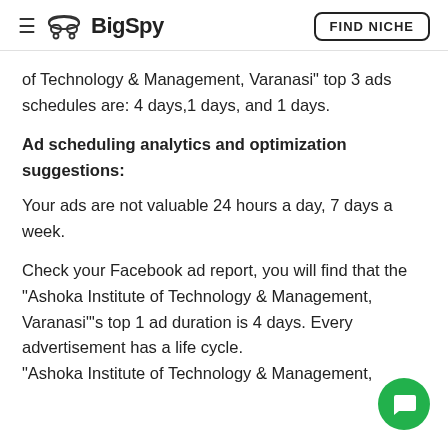BigSpy | FIND NICHE
of Technology & Management, Varanasi" top 3 ads schedules are: 4 days,1 days, and 1 days.
Ad scheduling analytics and optimization suggestions:
Your ads are not valuable 24 hours a day, 7 days a week.
Check your Facebook ad report, you will find that the "Ashoka Institute of Technology & Management, Varanasi"'s top 1 ad duration is 4 days. Every advertisement has a life cycle. "Ashoka Institute of Technology & Management,